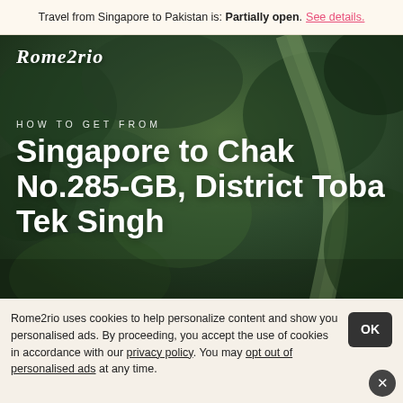Travel from Singapore to Pakistan is: Partially open. See details.
[Figure (photo): Aerial view of forest with river valley, dark green trees, used as hero background image for Rome2rio travel page]
Rome2rio
HOW TO GET FROM
Singapore to Chak No.285-GB, District Toba Tek Singh
TRAVEL FROM
Singapore
Rome2rio uses cookies to help personalize content and show you personalised ads. By proceeding, you accept the use of cookies in accordance with our privacy policy. You may opt out of personalised ads at any time.